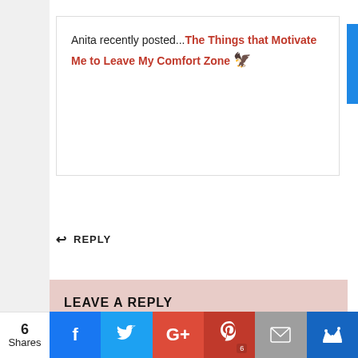Anita recently posted...The Things that Motivate Me to Leave My Comfort Zone 🦅
↩ REPLY
LEAVE A REPLY
Comment